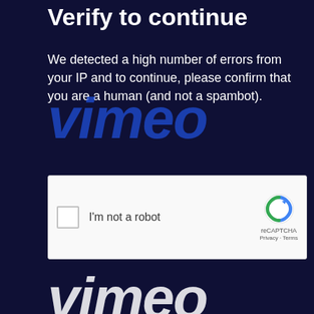Verify to continue
We detected a high number of errors from your IP and to continue, please confirm that you are a human (and not a spambot).
[Figure (other): Vimeo logo watermark overlaid on text in blue italic bold lettering]
[Figure (other): Google reCAPTCHA widget with checkbox labeled I'm not a robot, reCAPTCHA logo, Privacy and Terms links]
[Figure (other): Vimeo logo watermark at bottom of page in white italic bold lettering]